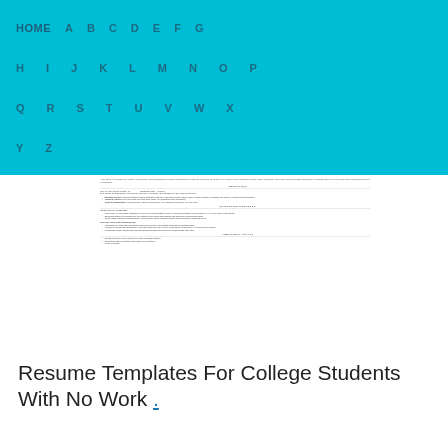HOME A B C D E F G H I J K L M N O P Q R S T U V W X Y Z
[Figure (screenshot): Blurred/small preview of a college student resume template showing sections: Education (Texas A&M), Marketing Projects (Shop Local Campaign, Collegiate Sales Competition), Additional Skills]
Resume Templates For College Students With No Work .